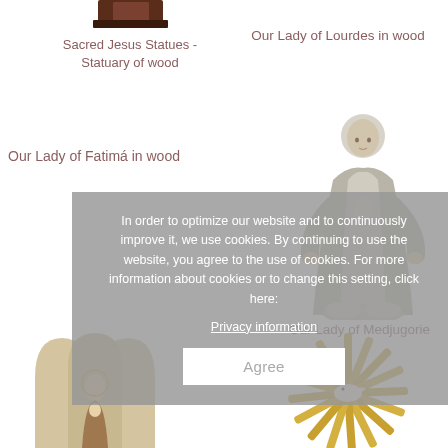[Figure (photo): Small dark wooden Jesus statue thumbnail at top center-left]
Sacred Jesus Statues - Statuary of wood
Our Lady of Lourdes in wood
Our Lady of Fatimá in wood
[Figure (photo): Painted wooden statue of Virgin Mary / Our Lady of Medjugorie standing on a cloud base, robes in blue-grey tones]
In order to optimize our website and to continuously improve it, we use cookies. By continuing to use the website, you agree to the use of cookies. For more information about cookies or to change this setting, click here:
Privacy information
Agree
Our Lady of Medjugorie
[Figure (photo): Wooden triptych with Madonna and Child inside arched wooden doors, natural wood tones]
[Figure (photo): Gold sunburst / radiant glory decorative religious piece with dove at center]